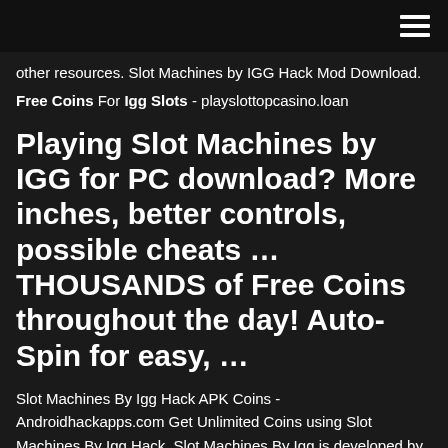other resources. Slot Machines by IGG Hack Mod Download.
Free Coins For Igg Slots - playslottopcasino.loan
Playing Slot Machines by IGG for PC download? More inches, better controls, possible cheats … THOUSANDS of Free Coins throughout the day! Auto-Spin for easy, …
Slot Machines By Igg Hack APK Coins - Androidhackapps.com Get Unlimited Coins using Slot Machines By Igg Hack. Slot Machines By Igg is developed by Igg Com. Judging from its genre, this game is called as